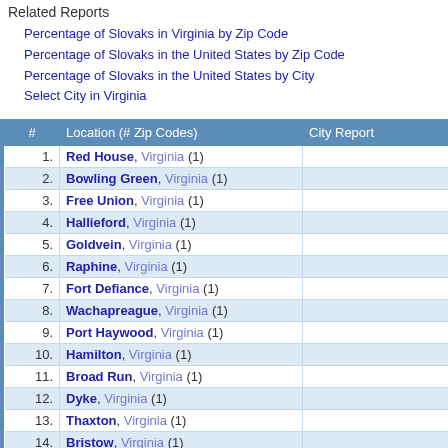Related Reports
Percentage of Slovaks in Virginia by Zip Code
Percentage of Slovaks in the United States by Zip Code
Percentage of Slovaks in the United States by City
Select City in Virginia
| # | Location (# Zip Codes) | City Report |
| --- | --- | --- |
| 1. | Red House, Virginia (1) |  |
| 2. | Bowling Green, Virginia (1) |  |
| 3. | Free Union, Virginia (1) |  |
| 4. | Hallieford, Virginia (1) |  |
| 5. | Goldvein, Virginia (1) |  |
| 6. | Raphine, Virginia (1) |  |
| 7. | Fort Defiance, Virginia (1) |  |
| 8. | Wachapreague, Virginia (1) |  |
| 9. | Port Haywood, Virginia (1) |  |
| 10. | Hamilton, Virginia (1) |  |
| 11. | Broad Run, Virginia (1) |  |
| 12. | Dyke, Virginia (1) |  |
| 13. | Thaxton, Virginia (1) |  |
| 14. | Bristow, Virginia (1) |  |
| 15. | Keokee, Virginia (1) |  |
| 16. | Claremont, Virginia (1) |  |
| 17. | Cross Junction, Virginia (1) |  |
| 18. | Natural Bridge, Virginia (1) |  |
| 19. | The Plains, Virginia (1) |  |
| 20. | Esmont, Virginia (1) |  |
| 21. | Oakton, Virginia (1) |  |